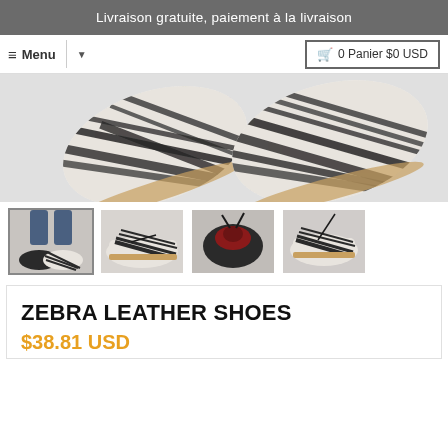Livraison gratuite, paiement à la livraison
≡ Menu  ▼  🛒 0 Panier $0 USD
[Figure (photo): Close-up overhead photo of zebra-print leather shoes (two shoes sole-up showing black and white striped pattern with tan soles)]
[Figure (photo): Thumbnail 1: Person wearing zebra-print leather lace-up shoes with jeans]
[Figure (photo): Thumbnail 2: Side view of zebra-print leather oxford shoe lying flat]
[Figure (photo): Thumbnail 3: Close-up of zebra-print shoe with laces loose, showing interior]
[Figure (photo): Thumbnail 4: Angled side view of zebra-print leather oxford shoe]
ZEBRA LEATHER SHOES
$38.81 USD